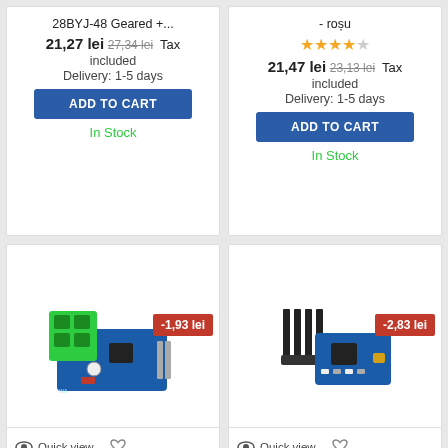28BYJ-48 Geared +...
21,27 lei 27,34 lei Tax included
Delivery: 1-5 days
ADD TO CART
In Stock
- roșu
Rating: 3.5 stars
21,47 lei 23,13 lei Tax included
Delivery: 1-5 days
ADD TO CART
In Stock
[Figure (photo): Green and blue electronic current sensor module board with terminal blocks, discount badge -1,93 lei]
-1,93 lei
Quick view
[Figure (photo): Blue electronic GY-521 MPU-6050 module with header pins, discount badge -2,83 lei]
-2,83 lei
Quick view